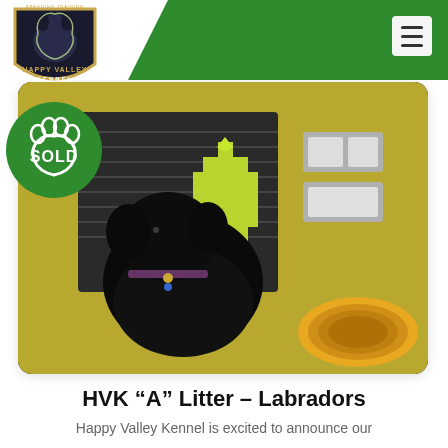[Figure (logo): Happy Valley Kennel shield logo with dog silhouette]
[Figure (photo): Black Labrador puppy sitting in front of a yellow fire truck with HD logo, wearing a collar with a tag. A green SOLD paw print badge overlays the top-left corner.]
HVK “A” Litter – Labradors
Happy Valley Kennel is excited to announce our